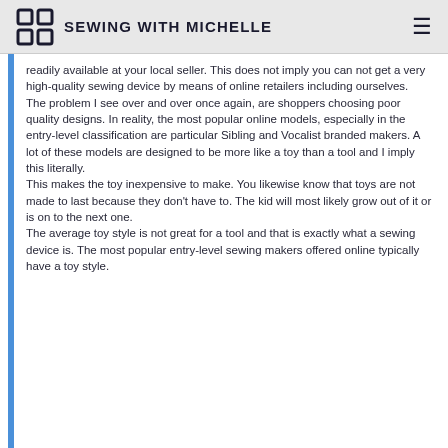SEWING WITH MICHELLE
readily available at your local seller. This does not imply you can not get a very high-quality sewing device by means of online retailers including ourselves.
The problem I see over and over once again, are shoppers choosing poor quality designs. In reality, the most popular online models, especially in the entry-level classification are particular Sibling and Vocalist branded makers. A lot of these models are designed to be more like a toy than a tool and I imply this literally.
This makes the toy inexpensive to make. You likewise know that toys are not made to last because they don't have to. The kid will most likely grow out of it or is on to the next one.
The average toy style is not great for a tool and that is exactly what a sewing device is. The most popular entry-level sewing makers offered online typically have a toy style.